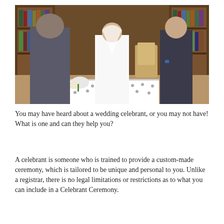[Figure (photo): A wedding ceremony scene in a wood-panelled room with bookshelves. A bride in a white dress and veil, a groom in a dark suit, and a celebrant/officiant are gathered around a table with a patterned cloth and flowers. The bride and groom appear to be performing a sand ceremony.]
You may have heard about a wedding celebrant, or you may not have! What is one and can they help you?
A celebrant is someone who is trained to provide a custom-made ceremony, which is tailored to be unique and personal to you. Unlike a registrar, there is no legal limitations or restrictions as to what you can include in a Celebrant Ceremony.